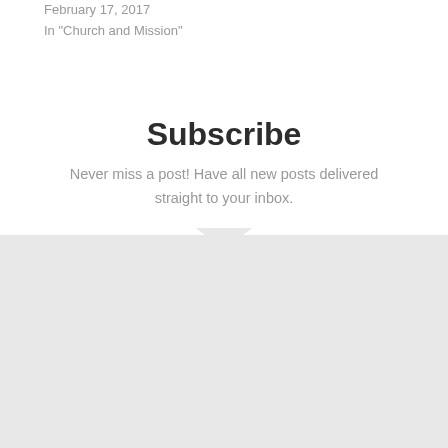February 17, 2017
In "Church and Mission"
Subscribe
Never miss a post! Have all new posts delivered straight to your inbox.
[Figure (other): Email subscription form with Name field, Email field, and SUBSCRIBE! button on a light grey background panel with a downward pointing arrow at the top]